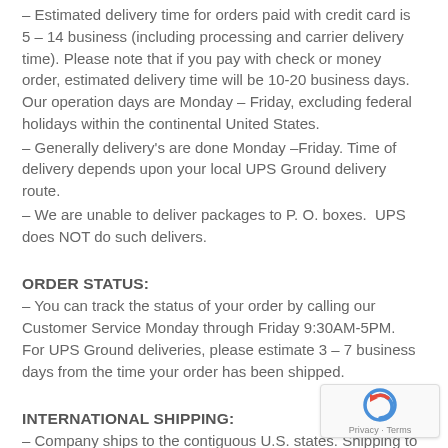– Estimated delivery time for orders paid with credit card is 5 – 14 business (including processing and carrier delivery time). Please note that if you pay with check or money order, estimated delivery time will be 10-20 business days. Our operation days are Monday – Friday, excluding federal holidays within the continental United States.
– Generally delivery's are done Monday –Friday. Time of delivery depends upon your local UPS Ground delivery route.
– We are unable to deliver packages to P. O. boxes.  UPS does NOT do such delivers.
ORDER STATUS:
– You can track the status of your order by calling our Customer Service Monday through Friday 9:30AM-5PM. For UPS Ground deliveries, please estimate 3 – 7 business days from the time your order has been shipped.
INTERNATIONAL SHIPPING:
– Company ships to the contiguous U.S. states. Shipping to international destinations or US territories (such as Puerto Rico and Guam) is unavailable at this.
-Shipping to Canada is available.
– For U.S. orders and shipping with Company, you must have a shipping address and credit card billing address within the United States. In addition, the issuing bank for the transaction